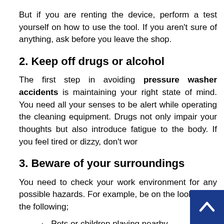But if you are renting the device, perform a test yourself on how to use the tool. If you aren't sure of anything, ask before you leave the shop.
2. Keep off drugs or alcohol
The first step in avoiding pressure washer accidents is maintaining your right state of mind. You need all your senses to be alert while operating the cleaning equipment. Drugs not only impair your thoughts but also introduce fatigue to the body. If you feel tired or dizzy, don't wor
3. Beware of your surroundings
You need to check your work environment for any possible hazards. For example, be on the lookout for the following;
Pets or children playing nearby
Obstacles you can trip on, like uneven ground,